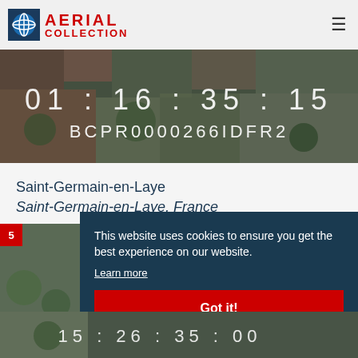AERIAL COLLECTION
[Figure (screenshot): Aerial photograph of Saint-Germain-en-Laye with timestamp overlay: 01:16:35:15 and code BCPR0000266IDFR2]
Saint-Germain-en-Laye
Saint-Germain-en-Laye, France
[Figure (photo): Thumbnail aerial photo with red badge showing number 5]
This website uses cookies to ensure you get the best experience on our website. Learn more
[Figure (screenshot): Bottom strip showing partially visible aerial image with timestamp 15:26:35:00]